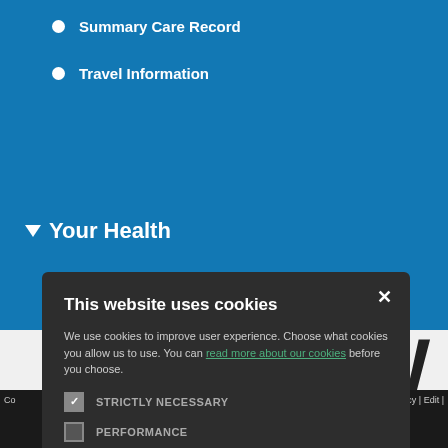Summary Care Record
Travel Information
▼ Your Health
[Figure (screenshot): Cookie consent modal dialog on a healthcare website (MSW) with dark background, showing cookie options: Strictly Necessary (checked), Performance, Targeting, Functionality, with Accept All and Decline All buttons]
Co | ocessing Policy | Edit |
Staff Home | Site Map | Accessibility | Site T&C's | Cookie Policy